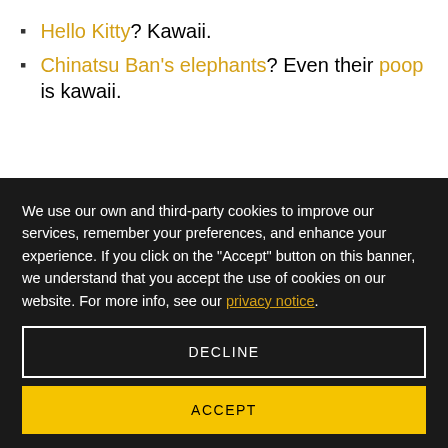Hello Kitty? Kawaii.
Chinatsu Ban's elephants? Even their poop is kawaii.
We use our own and third-party cookies to improve our services, remember your preferences, and enhance your experience. If you click on the "Accept" button on this banner, we understand that you accept the use of cookies on our website. For more info, see our privacy notice.
DECLINE
ACCEPT